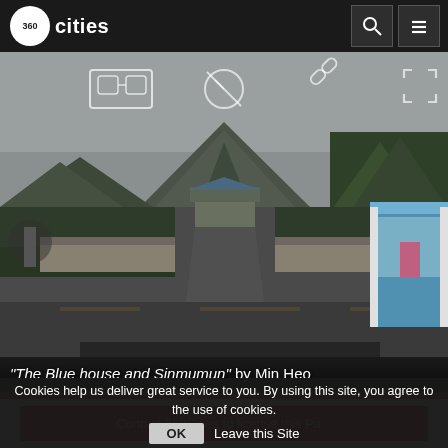360cities
[Figure (screenshot): 360 panoramic view of 'The Blue house and Sinmumun' - a road leading to a traditional Korean palace building with a mountain backdrop and trees on both sides, with a guard booth on the right. Overlay icons visible: VR goggles icon, compass/disabled icon, chain link icon, and fullscreen icon.]
"The Blue house and Sinmumun" by Min Heo
Contact 360Cities to license this Pa...
Cookies help us deliver great service to you. By using this site, you agree to the use of cookies.  OK  Leave this Site